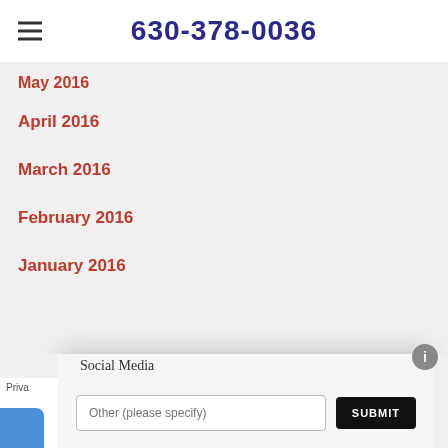630-378-0036
May 2016
April 2016
March 2016
February 2016
January 2016
HOW DID YOU FIND US TODAY?
Yellow Pages
Internet Search
Social Media
Other (please specify)
SUBMIT